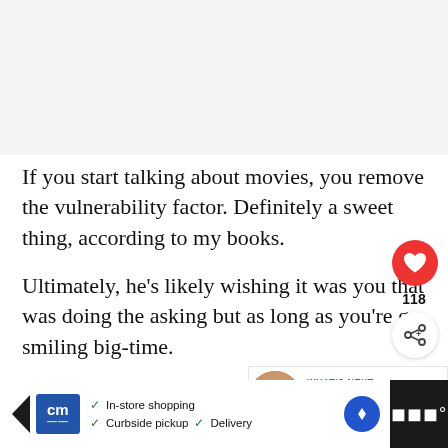[Figure (photo): Light grey placeholder/image area at top of page]
If you start talking about movies, you remove the vulnerability factor. Definitely a sweet thing, according to my books.
Ultimately, he’s likely wishing it was you that was doing the asking but as long as you’re ga[tting him] smiling big-time.
[Figure (other): Like button (red heart circle) with count 118 and share button]
[Figure (other): What's Next panel: 'How To Make Him Miss Yo...' with thumbnail]
[Figure (other): Advertisement bar at bottom: Cream logo, In-store shopping, Curbside pickup, Delivery]